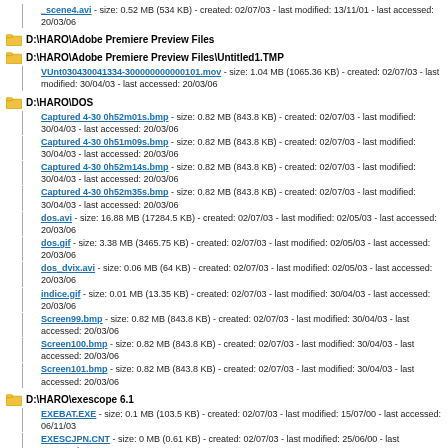_scene4.avi - size: 0.52 MB (534 KB) - created: 02/07/03 - last modified: 13/11/01 - last accessed: 20/03/06
D:\HARO\Adobe Premiere Preview Files
D:\HARO\Adobe Premiere Preview Files\Untitled1.TMP
VUnt030430041334-300000000000101.mov - size: 1.04 MB (1065.36 KB) - created: 02/07/03 - last modified: 30/04/03 - last accessed: 20/03/06
D:\HARO\DOS
Captured 4-30 0h52m01s.bmp - size: 0.82 MB (843.8 KB) - created: 02/07/03 - last modified: 30/04/03 - last accessed: 20/03/06
Captured 4-30 0h51m09s.bmp - size: 0.82 MB (843.8 KB) - created: 02/07/03 - last modified: 30/04/03 - last accessed: 20/03/06
Captured 4-30 0h52m14s.bmp - size: 0.82 MB (843.8 KB) - created: 02/07/03 - last modified: 30/04/03 - last accessed: 20/03/06
Captured 4-30 0h52m35s.bmp - size: 0.82 MB (843.8 KB) - created: 02/07/03 - last modified: 30/04/03 - last accessed: 20/03/06
dos.avi - size: 16.88 MB (17284.5 KB) - created: 02/07/03 - last modified: 02/05/03 - last accessed: 20/03/06
dos.gif - size: 3.38 MB (3465.75 KB) - created: 02/07/03 - last modified: 02/05/03 - last accessed: 20/03/06
dos_dvix.avi - size: 0.06 MB (64 KB) - created: 02/07/03 - last modified: 02/05/03 - last accessed: 20/03/06
indice.gif - size: 0.01 MB (13.35 KB) - created: 02/07/03 - last modified: 30/04/03 - last accessed: 20/03/06
Screen99.bmp - size: 0.82 MB (843.8 KB) - created: 02/07/03 - last modified: 30/04/03 - last accessed: 20/03/06
Screen100.bmp - size: 0.82 MB (843.8 KB) - created: 02/07/03 - last modified: 30/04/03 - last accessed: 20/03/06
Screen101.bmp - size: 0.82 MB (843.8 KB) - created: 02/07/03 - last modified: 30/04/03 - last accessed: 20/03/06
D:\HARO\exescope 6.1
EXEBAT.EXE - size: 0.1 MB (103.5 KB) - created: 02/07/03 - last modified: 15/07/00 - last accessed: 06/11/03
EXESCJPN.CNT - size: 0 MB (0.61 KB) - created: 02/07/03 - last modified: 25/06/00 - last accessed: 2